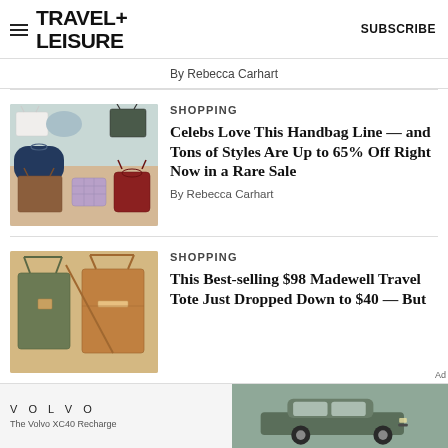TRAVEL+ LEISURE | SUBSCRIBE
By Rebecca Carhart
SHOPPING
Celebs Love This Handbag Line — and Tons of Styles Are Up to 65% Off Right Now in a Rare Sale
By Rebecca Carhart
SHOPPING
This Best-selling $98 Madewell Travel Tote Just Dropped Down to $40 — But
[Figure (photo): Multiple handbags in various colors including white, teal, navy, green, brown, purple, and red arranged on a light background]
[Figure (photo): Two Madewell tote bags in olive green and tan/camel colors on an orange-tan background]
[Figure (photo): Advertisement showing Volvo XC40 Recharge car on a green background]